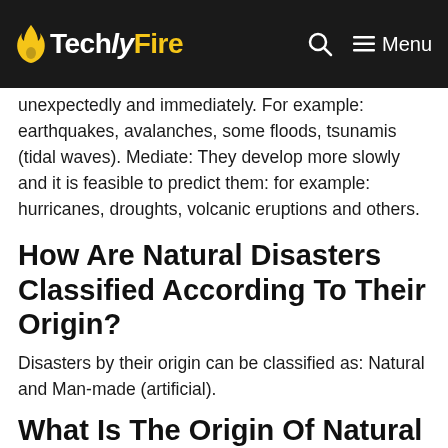TechlyFire — navbar with logo, search icon, and menu
unexpectedly and immediately. For example: earthquakes, avalanches, some floods, tsunamis (tidal waves). Mediate: They develop more slowly and it is feasible to predict them: for example: hurricanes, droughts, volcanic eruptions and others.
How Are Natural Disasters Classified According To Their Origin?
Disasters by their origin can be classified as: Natural and Man-made (artificial).
What Is The Origin Of Natural